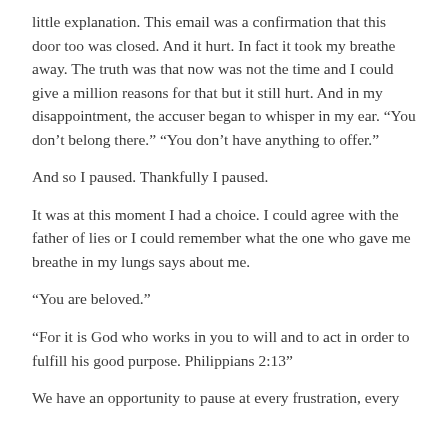little explanation. This email was a confirmation that this door too was closed. And it hurt. In fact it took my breathe away. The truth was that now was not the time and I could give a million reasons for that but it still hurt. And in my disappointment, the accuser began to whisper in my ear. “You don’t belong there.” “You don’t have anything to offer.”
And so I paused. Thankfully I paused.
It was at this moment I had a choice. I could agree with the father of lies or I could remember what the one who gave me breathe in my lungs says about me.
“You are beloved.”
“For it is God who works in you to will and to act in order to fulfill his good purpose. Philippians 2:13”
We have an opportunity to pause at every frustration, every